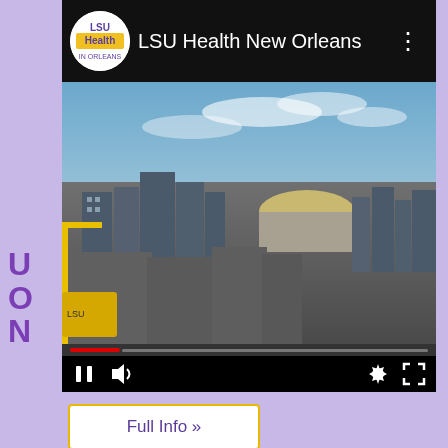[Figure (screenshot): YouTube video embed showing LSU Health New Orleans channel with a cityscape video thumbnail including the Superdome and New Orleans skyline. Video controls visible at bottom with progress bar, pause, volume, settings, and fullscreen icons.]
UC
O
N
U...
(U...
L...
h...
n...
i...
th...
Full Info »